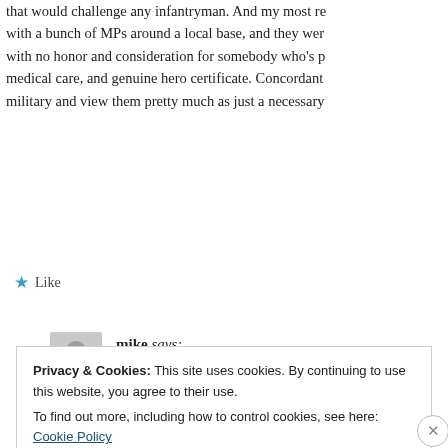that would challenge any infantryman. And my most re with a bunch of MPs around a local base, and they wer with no honor and consideration for somebody who's p medical care, and genuine hero certificate. Concordant military and view them pretty much as just a necessary
Like
mike says:
December 13, 2017 at 06:47
troll…take your sob story somewhere else
Like
Privacy & Cookies: This site uses cookies. By continuing to use this website, you agree to their use.
To find out more, including how to control cookies, see here: Cookie Policy
Close and accept